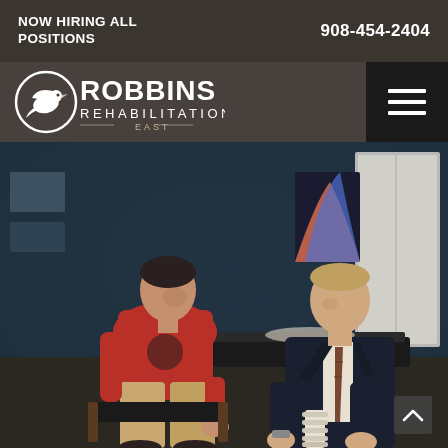NOW HIRING ALL POSITIONS       908-454-2404
[Figure (logo): Robbins Rehabilitation East logo with bird icon]
[Figure (photo): A physical therapist showing a spine model to a patient in a rehabilitation clinic room. The patient wears a red t-shirt and khaki pants; the therapist wears a dark suit with tie.]